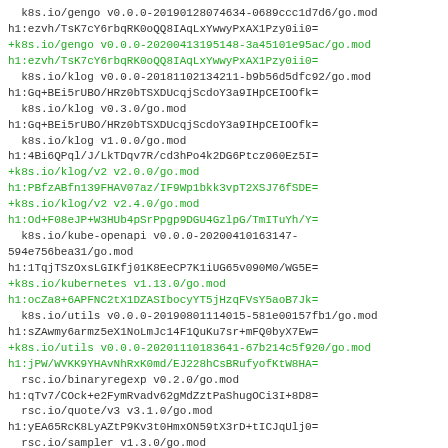k8s.io/gengo v0.0.0-20190128074634-0689ccc1d7d6/go.mod
h1:ezvh/TsK7cY6rbqRK0oQQ8IAqLxYwwyPxAX1Pzy0ii0=
+k8s.io/gengo v0.0.0-20200413195148-3a45101e95ac/go.mod
h1:ezvh/TsK7cY6rbqRK0oQQ8IAqLxYwwyPxAX1Pzy0ii0=
  k8s.io/klog v0.0.0-20181102134211-b9b56d5dfc92/go.mod
h1:Gq+BEi5rUBO/HRz0bTSXDUcqjScdoY3a9IHpCEIOOfk=
  k8s.io/klog v0.3.0/go.mod
h1:Gq+BEi5rUBO/HRz0bTSXDUcqjScdoY3a9IHpCEIOOfk=
  k8s.io/klog v1.0.0/go.mod
h1:4Bi6QPql/J/LkTDqv7R/cd3hPo4k2DG6Ptcz060Ez5I=
+k8s.io/klog/v2 v2.0.0/go.mod
h1:PBfzABfn139FHAV07az/IF9Wp1bkk3vpT2XSJ76fSDE=
+k8s.io/klog/v2 v2.4.0/go.mod
h1:Od+F08eJP+W3HUb4pSrPpgp9DGU4GzlpG/TmITuYh/Y=
  k8s.io/kube-openapi v0.0.0-20200410163147-594e756bea31/go.mod
h1:1TqjTSzOxsLGIKfj01K8EeCP7K1iUG65v090M0/WG5E=
+k8s.io/kubernetes v1.13.0/go.mod
h1:ocZa8+6APFNC2tX1DZASIbocyYT5jHzqFVsY5aoB7Jk=
  k8s.io/utils v0.0.0-20190801114015-581e00157fb1/go.mod
h1:sZAwmy6armz5eX1NoLmJc14F1QuKu7sr+mFQ0byX7Ew=
+k8s.io/utils v0.0.0-20201110183641-67b214c5f920/go.mod
h1:jPW/WVKK9YHAvNhRxK0md/EJ228hCsBRufyofKtW8HA=
  rsc.io/binaryregexp v0.2.0/go.mod
h1:qTv7/COck+e2FymRvadv62gMdZztPaShugOCi3I+8D8=
  rsc.io/quote/v3 v3.1.0/go.mod
h1:yEA65RcK8LyAZtP9Kv3t0HmxON59tX3rD+tICJqUlj0=
  rsc.io/sampler v1.3.0/go.mod
h1:T1hPZKmBbMNahiBKFy5HrXp6adAjACjK9JXDnKaTXpA=
+sigs.k8s.io/apiserver-network-proxy/konnectivity-